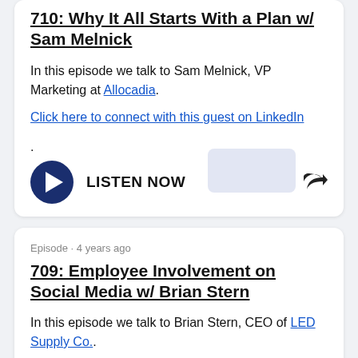710: Why It All Starts With a Plan w/ Sam Melnick
In this episode we talk to Sam Melnick, VP Marketing at Allocadia.
Click here to connect with this guest on LinkedIn.
LISTEN NOW
Episode · 4 years ago
709: Employee Involvement on Social Media w/ Brian Stern
In this episode we talk to Brian Stern, CEO of LED Supply Co..
Click here to connect with this guest on LinkedIn.